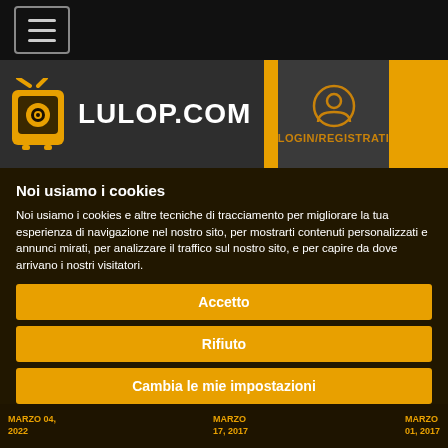[Figure (screenshot): Navigation bar with hamburger menu icon]
[Figure (logo): Lulop.com logo with TV character mascot and site name]
[Figure (screenshot): Login/Registrati button with user icon]
Noi usiamo i cookies
Noi usiamo i cookies e altre tecniche di tracciamento per migliorare la tua esperienza di navigazione nel nostro sito, per mostrarti contenuti personalizzati e annunci mirati, per analizzare il traffico sul nostro sito, e per capire da dove arrivano i nostri visitatori.
Accetto
Rifiuto
Cambia le mie impostazioni
MARZO 04, 2022   MARZO 17, 2017   MARZO 01, 2017